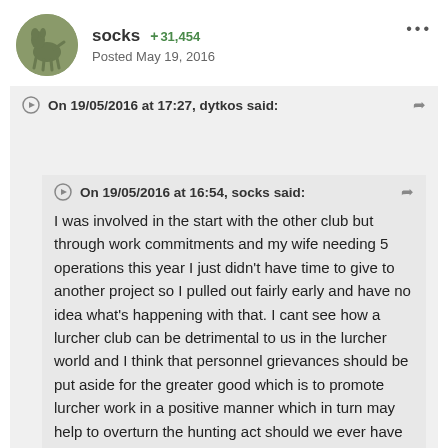socks  +31,454
Posted May 19, 2016
On 19/05/2016 at 17:27, dytkos said:
On 19/05/2016 at 16:54, socks said:
I was involved in the start with the other club but through work commitments and my wife needing 5 operations this year I just didn't have time to give to another project so I pulled out fairly early and have no idea what's happening with that. I cant see how a lurcher club can be detrimental to us in the lurcher world and I think that personnel grievances should be put aside for the greater good which is to promote lurcher work in a positive manner which in turn may help to overturn the hunting act should we ever have that chance, as an example I recently went to have a